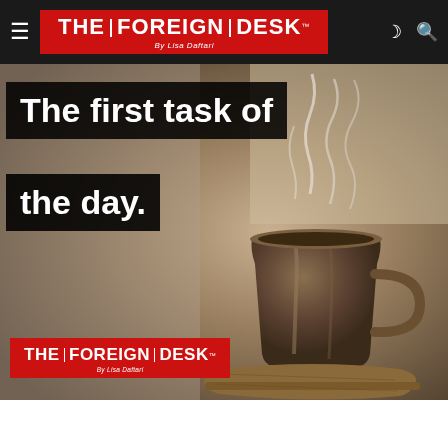[Figure (logo): The Foreign Desk navigation bar with logo on red background, hamburger menu icon on left, moon and search icons on right]
[Figure (photo): A steaming dark coffee mug on a wooden surface with blurred background, overlaid with text 'The first task of the day.' and The Foreign Desk logo at bottom left]